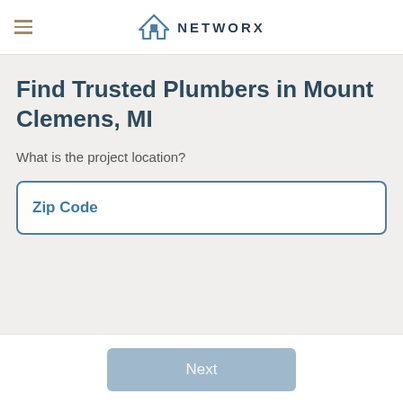NETWORX
Find Trusted Plumbers in Mount Clemens, MI
What is the project location?
Zip Code
Next